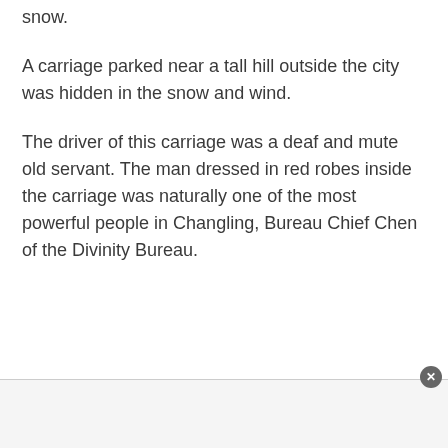snow.
A carriage parked near a tall hill outside the city was hidden in the snow and wind.
The driver of this carriage was a deaf and mute old servant. The man dressed in red robes inside the carriage was naturally one of the most powerful people in Changling, Bureau Chief Chen of the Divinity Bureau.